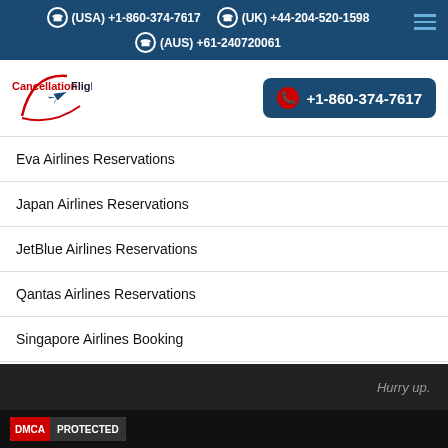(USA) +1-860-374-7617  (UK) +44-204-520-1598  (AUS) +61-240720061
[Figure (logo): CancellationFlights logo with red swoosh and airplane icon]
+1-860-374-7617
Eva Airlines Reservations
Japan Airlines Reservations
JetBlue Airlines Reservations
Qantas Airlines Reservations
Singapore Airlines Booking
Southwest Airlines Flights Booking
Spirit Airlines Reservations
Hurry up.
[Figure (logo): DMCA PROTECTED badge]